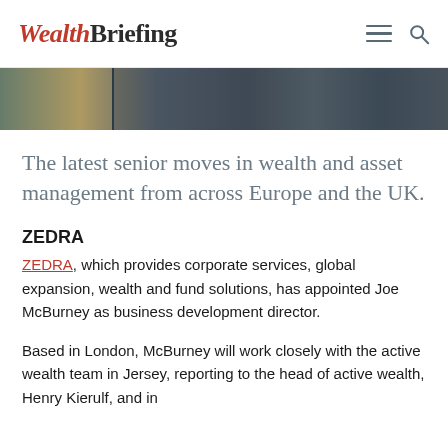WealthBriefing
[Figure (photo): Partial image strip showing a blurred outdoor scene, cropped at the top of the article]
The latest senior moves in wealth and asset management from across Europe and the UK.
ZEDRA
ZEDRA, which provides corporate services, global expansion, wealth and fund solutions, has appointed Joe McBurney as business development director.
Based in London, McBurney will work closely with the active wealth team in Jersey, reporting to the head of active wealth, Henry Kierulf, and in